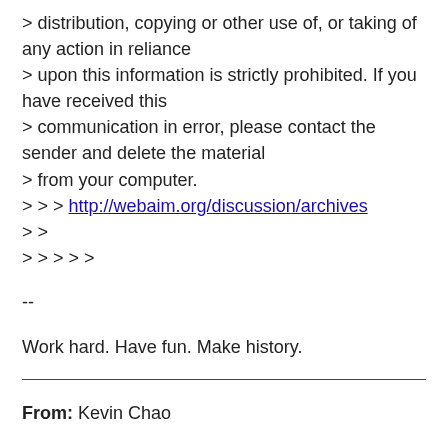> distribution, copying or other use of, or taking of any action in reliance
> upon this information is strictly prohibited. If you have received this
> communication in error, please contact the sender and delete the material
> from your computer.
> > > http://webaim.org/discussion/archives
> >

> > > > >
--
Work hard. Have fun. Make history.
From: Kevin Chao
Date: Sun, Oct 30 2016 11:36AM